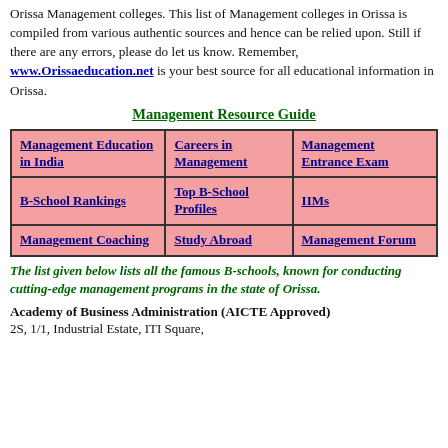Orissa Management colleges. This list of Management colleges in Orissa is compiled from various authentic sources and hence can be relied upon. Still if there are any errors, please do let us know. Remember, www.Orissaeducation.net is your best source for all educational information in Orissa.
Management Resource Guide
| Management Education in India | Careers in Management | Management Entrance Exam |
| B-School Rankings | Top B-School Profiles | IIMs |
| Management Coaching | Study Abroad | Management Forum |
The list given below lists all the famous B-schools, known for conducting cutting-edge management programs in the state of Orissa.
Academy of Business Administration (AICTE Approved)
2S, 1/1, Industrial Estate, ITI Square,